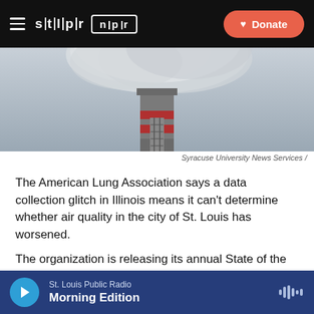stlpr | npr — Donate
[Figure (photo): Industrial smokestack emitting large plume of white/grey smoke against overcast sky]
Syracuse University News Services /
The American Lung Association says a data collection glitch in Illinois means it can't determine whether air quality in the city of St. Louis has worsened.
The organization is releasing its annual State of the Air report Wednesday. It says the state of Illinois had problems processing particle pollution information.
St. Louis Public Radio — Morning Edition